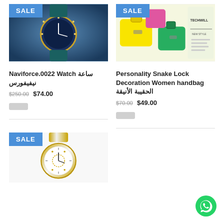[Figure (photo): Blue Naviforce watch with teal sparkle strap and SALE badge]
Naviforce.0022 Watch ساعة نيفيفورس
$250.00 $74.00
[Figure (photo): Colorful handbags (yellow, green, pink) with Techwill branding and SALE badge]
Personality Snake Lock Decoration Women handbag الحقيبة الأنيقة
$70.00 $49.00
[Figure (photo): Two-tone gold-silver mechanical watch with SALE badge]